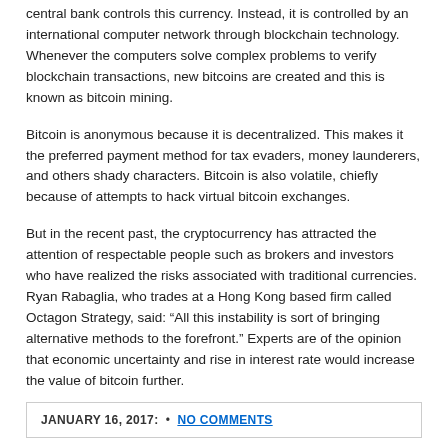central bank controls this currency. Instead, it is controlled by an international computer network through blockchain technology. Whenever the computers solve complex problems to verify blockchain transactions, new bitcoins are created and this is known as bitcoin mining.
Bitcoin is anonymous because it is decentralized. This makes it the preferred payment method for tax evaders, money launderers, and others shady characters. Bitcoin is also volatile, chiefly because of attempts to hack virtual bitcoin exchanges.
But in the recent past, the cryptocurrency has attracted the attention of respectable people such as brokers and investors who have realized the risks associated with traditional currencies. Ryan Rabaglia, who trades at a Hong Kong based firm called Octagon Strategy, said: “All this instability is sort of bringing alternative methods to the forefront.” Experts are of the opinion that economic uncertainty and rise in interest rate would increase the value of bitcoin further.
JANUARY 16, 2017: • NO COMMENTS